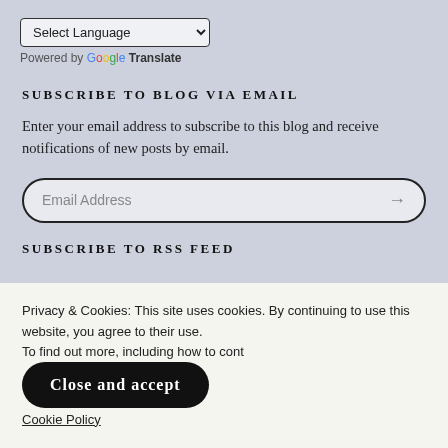Select Language
Powered by Google Translate
SUBSCRIBE TO BLOG VIA EMAIL
Enter your email address to subscribe to this blog and receive notifications of new posts by email.
Email Address
SUBSCRIBE TO RSS FEED
Privacy & Cookies: This site uses cookies. By continuing to use this website, you agree to their use. To find out more, including how to control cookies, see here: Cookie Policy
Close and accept